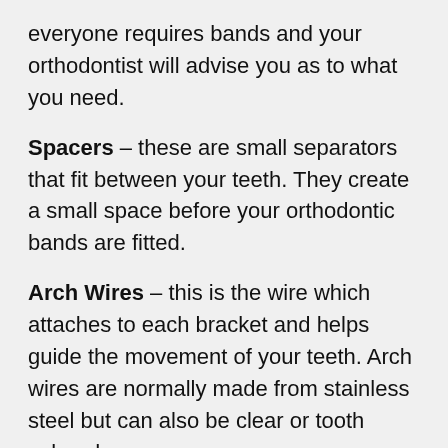everyone requires bands and your orthodontist will advise you as to what you need.
Spacers – these are small separators that fit between your teeth. They create a small space before your orthodontic bands are fitted.
Arch Wires – this is the wire which attaches to each bracket and helps guide the movement of your teeth. Arch wires are normally made from stainless steel but can also be clear or tooth colored.
Ties – these are the small rubber rings which attach the arch wire to your brackets. Again